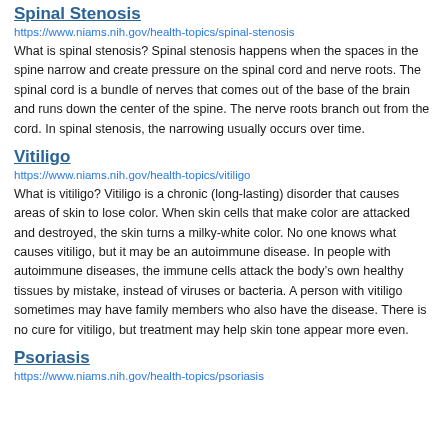Spinal Stenosis
https://www.niams.nih.gov/health-topics/spinal-stenosis
What is spinal stenosis? Spinal stenosis happens when the spaces in the spine narrow and create pressure on the spinal cord and nerve roots. The spinal cord is a bundle of nerves that comes out of the base of the brain and runs down the center of the spine. The nerve roots branch out from the cord. In spinal stenosis, the narrowing usually occurs over time.
Vitiligo
https://www.niams.nih.gov/health-topics/vitiligo
What is vitiligo? Vitiligo is a chronic (long-lasting) disorder that causes areas of skin to lose color. When skin cells that make color are attacked and destroyed, the skin turns a milky-white color. No one knows what causes vitiligo, but it may be an autoimmune disease. In people with autoimmune diseases, the immune cells attack the body’s own healthy tissues by mistake, instead of viruses or bacteria. A person with vitiligo sometimes may have family members who also have the disease. There is no cure for vitiligo, but treatment may help skin tone appear more even.
Psoriasis
https://www.niams.nih.gov/health-topics/psoriasis